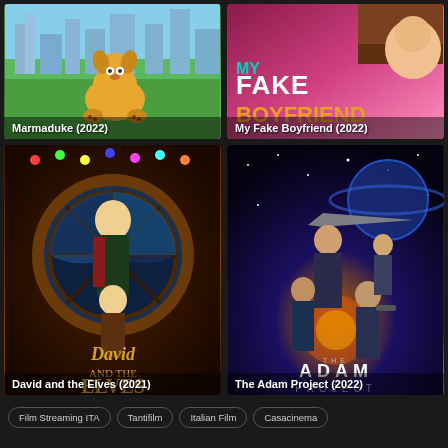[Figure (photo): Movie poster for Marmaduke (2022) showing animated dog on green grass with city background]
[Figure (photo): Movie poster for My Fake Boyfriend (2022) with pink/magenta background and title text]
[Figure (photo): Movie poster for David and the Elves (2021) showing characters in fantasy setting]
[Figure (photo): Movie poster for The Adam Project (2022) showing action characters in space setting]
Film Streaming ITA
Tantifilm
Italian Film
Casacinema